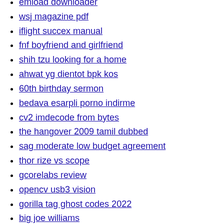emload downloader
wsj magazine pdf
iflight succex manual
fnf boyfriend and girlfriend
shih tzu looking for a home
ahwat yg dientot bpk kos
60th birthday sermon
bedava esarpli porno indirme
cv2 imdecode from bytes
the hangover 2009 tamil dubbed
sag moderate low budget agreement
thor rize vs scope
gcorelabs review
opencv usb3 vision
gorilla tag ghost codes 2022
big joe williams
hoops life controls pc
gabion wall design spreadsheet
honey select 2 mod tutorial
lucky powerball numbers for capricorn
olagist music download mp3
mi cuerpo es mio pdf
fal metric steel magazine
free young xxxx movies
pnpt vs ecppt